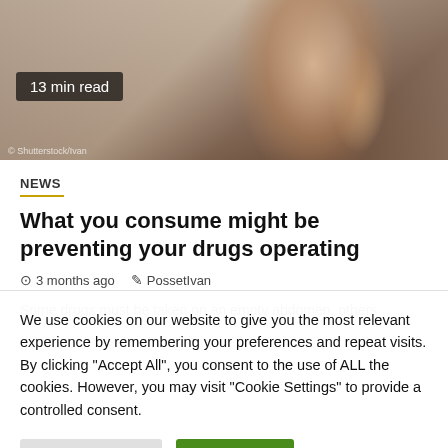[Figure (photo): Person holding a glass of water, wearing a light knit sweater. Background is blurred with warm tones.]
13 min read
NEWS
What you consume might be preventing your drugs operating
3 months ago   PossetIvan
Some drugs must be taken on an empty abdomen, others
We use cookies on our website to give you the most relevant experience by remembering your preferences and repeat visits. By clicking "Accept All", you consent to the use of ALL the cookies. However, you may visit "Cookie Settings" to provide a controlled consent.
Cookie Settings
Accept All